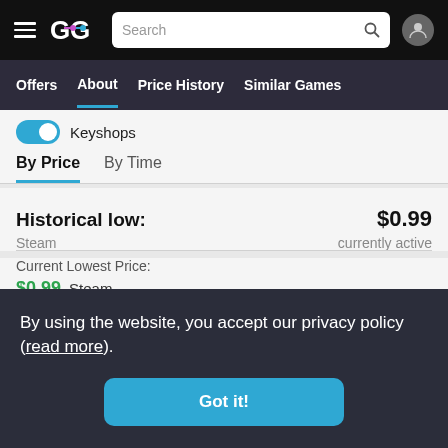GG navigation bar with logo, search, and user icon
Offers | About | Price History | Similar Games
Keyshops
By Price  By Time
Historical low:
$0.99
Steam
currently active
Current Lowest Price:
$0.99 Steam
By using the website, you accept our privacy policy (read more).
Got it!